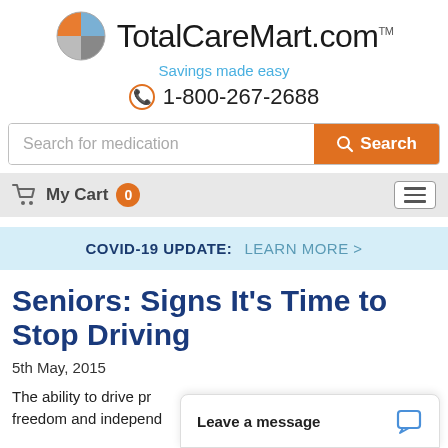TotalCareMart.com — Savings made easy — 1-800-267-2688
Search for medication — Search
My Cart 0
COVID-19 UPDATE: LEARN MORE >
Seniors: Signs It's Time to Stop Driving
5th May, 2015
The ability to drive p… freedom and independ…
Leave a message